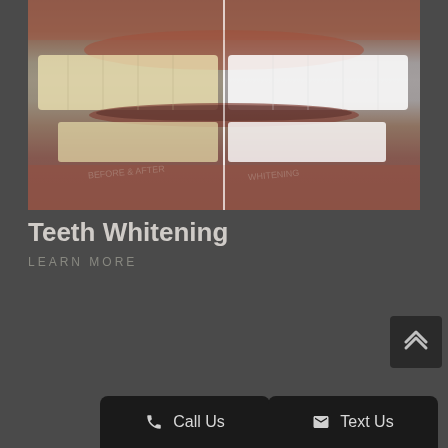[Figure (photo): Before-and-after teeth whitening comparison photo showing a close-up smile split vertically down the middle. Left half shows slightly yellowed teeth, right half shows bright white teeth after whitening. A thin white vertical line divides the two halves. Image has a dark overlay applied.]
Teeth Whitening
LEARN MORE
[Figure (other): Dark square button with double chevron/arrow pointing upward (scroll to top button), positioned at bottom right]
Call Us
Text Us